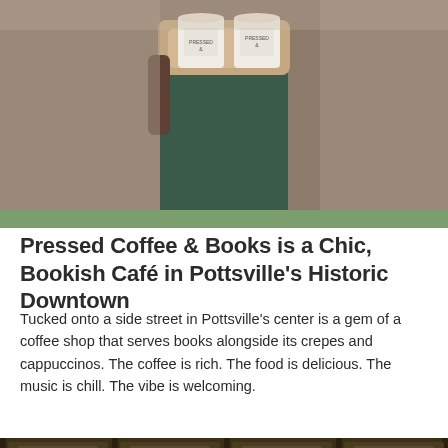[Figure (photo): Person carrying a tray with two white branded coffee cups]
Pressed Coffee & Books is a Chic, Bookish Café in Pottsville's Historic Downtown
Tucked onto a side street in Pottsville's center is a gem of a coffee shop that serves books alongside its crepes and cappuccinos. The coffee is rich. The food is delicious. The music is chill. The vibe is welcoming.
[Figure (photo): Close-up of vintage wooden library card catalog drawers with brass pulls and label holders]